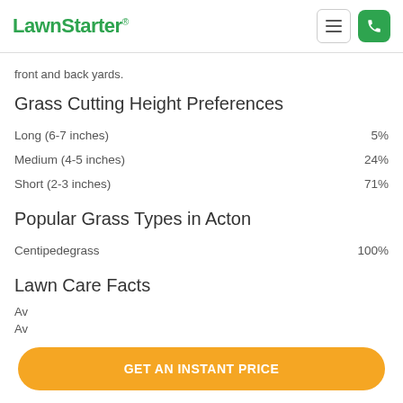LawnStarter
front and back yards.
Grass Cutting Height Preferences
Long (6-7 inches) — 5%
Medium (4-5 inches) — 24%
Short (2-3 inches) — 71%
Popular Grass Types in Acton
Centipedegrass — 100%
Lawn Care Facts
Av
Av
GET AN INSTANT PRICE